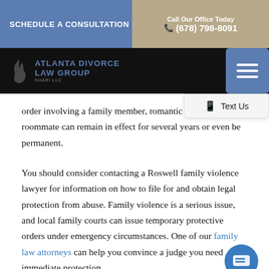SCHEDULE A CONSULTATION | Call Our Office Today (678) 798-8091
[Figure (logo): Atlanta Divorce Law Group Khari LLC logo with flame icon and navigation bar with hamburger menu and Text Us button]
order involving a family member, romantic partner, or roommate can remain in effect for several years or even be permanent.
You should consider contacting a Roswell family violence lawyer for information on how to file for and obtain legal protection from abuse. Family violence is a serious issue, and local family courts can issue temporary protective orders under emergency circumstances. One of our family law attorneys can help you convince a judge you need immediate protection.